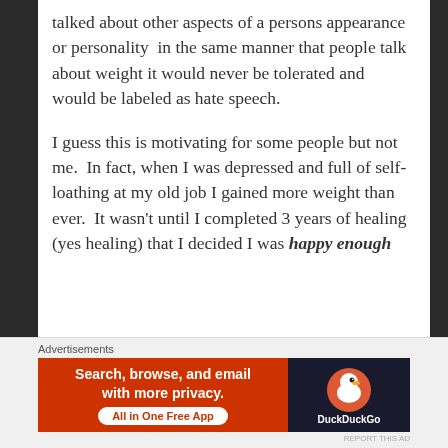talked about other aspects of a persons appearance or personality  in the same manner that people talk about weight it would never be tolerated and would be labeled as hate speech.
I guess this is motivating for some people but not me.  In fact, when I was depressed and full of self-loathing at my old job I gained more weight than ever.  It wasn't until I completed 3 years of healing (yes healing) that I decided I was happy enough
[Figure (screenshot): DuckDuckGo advertisement banner with orange background. Left side reads 'Search, browse, and email with more privacy. All in One Free App'. Right side shows DuckDuckGo logo on dark background.]